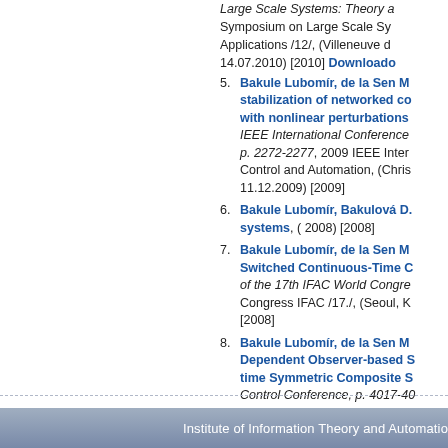Large Scale Systems: Theory a Symposium on Large Scale Sy Applications /12/, (Villeneuve d 14.07.2010) [2010] Downloado
5. Bakule Lubomír, de la Sen M stabilization of networked co with nonlinear perturbations IEEE International Conference p. 2272-2277, 2009 IEEE Inter Control and Automation, (Chris 11.12.2009) [2009]
6. Bakule Lubomír, Bakulová D. systems, ( 2008) [2008]
7. Bakule Lubomír, de la Sen M Switched Continuous-Time C of the 17th IFAC World Congre Congress IFAC /17./, (Seoul, K [2008]
8. Bakule Lubomír, de la Sen M Dependent Observer-based S time Symmetric Composite S Control Conference, p. 4017-40 Conference 2008, (Seattle, US [2008]
Institute of Information Theory and Automatio